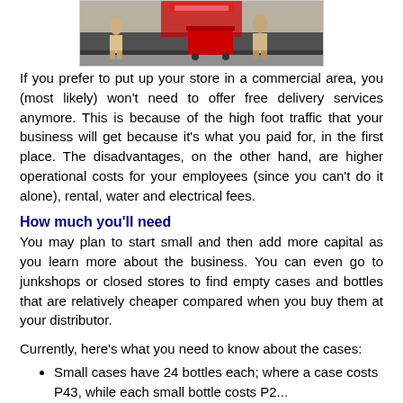[Figure (photo): Street scene with people near what appears to be a Coca-Cola vending or distribution setup]
If you prefer to put up your store in a commercial area, you (most likely) won't need to offer free delivery services anymore. This is because of the high foot traffic that your business will get because it's what you paid for, in the first place. The disadvantages, on the other hand, are higher operational costs for your employees (since you can't do it alone), rental, water and electrical fees.
How much you'll need
You may plan to start small and then add more capital as you learn more about the business. You can even go to junkshops or closed stores to find empty cases and bottles that are relatively cheaper compared when you buy them at your distributor.
Currently, here's what you need to know about the cases:
Small cases have 24 bottles each; where a case costs P43, while each small bottle costs P2...